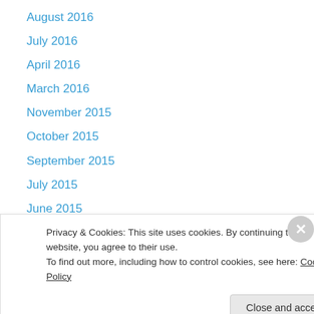August 2016
July 2016
April 2016
March 2016
November 2015
October 2015
September 2015
July 2015
June 2015
April 2015
March 2015
January 2015
December 2014
Privacy & Cookies: This site uses cookies. By continuing to use this website, you agree to their use.
To find out more, including how to control cookies, see here: Cookie Policy
Close and accept